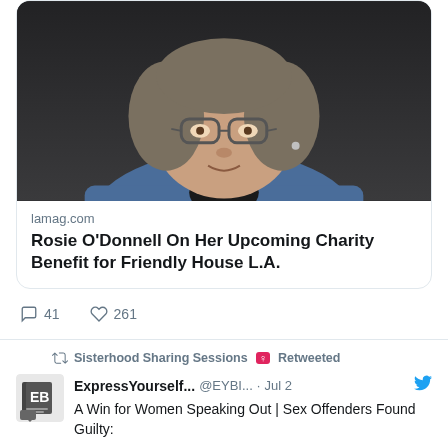[Figure (screenshot): Twitter/social media feed screenshot showing two tweets. First tweet has a link preview card with a photo of a woman (Rosie O'Donnell) in a denim jacket with glasses, and text from lamag.com: 'Rosie O'Donnell On Her Upcoming Charity Benefit for Friendly House L.A.' with 41 comments and 261 likes. Second tweet is retweeted by Sisterhood Sharing Sessions, from ExpressYourself... @EYBI... Jul 2, saying 'A Win for Women Speaking Out | Sex Offenders Found Guilty: R. Kelly-Sentenced 30 Years']